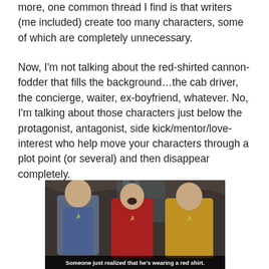more, one common thread I find is that writers (me included) create too many characters, some of which are completely unnecessary.
Now, I'm not talking about the red-shirted cannon-fodder that fills the background…the cab driver, the concierge, waiter, ex-boyfriend, whatever. No, I'm talking about those characters just below the protagonist, antagonist, side kick/mentor/love-interest who help move your characters through a plot point (or several) and then disappear completely.
[Figure (photo): Star Trek original series scene showing three crew members in uniform (blue, red, gold shirts). Caption reads: Someone just realized that he's wearing a red shirt.]